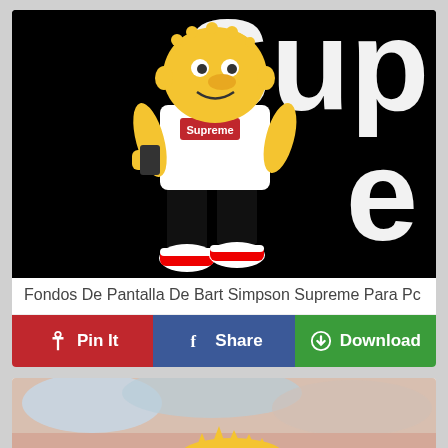[Figure (illustration): Homer Simpson dressed in Supreme branded streetwear — white Supreme logo t-shirt, black joggers, red/white Nike Air Jordan sneakers — holding a phone, posed against a black background with large white 'Supre' text visible on the right side.]
Fondos De Pantalla De Bart Simpson Supreme Para Pc
[Figure (illustration): Partial view of a second illustration showing Bart Simpson against a colorful cloudy background, only the spiky hair and top of the head visible at the bottom of the page.]